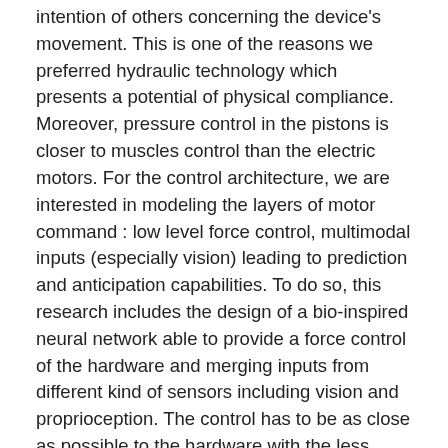intention of others concerning the device's movement. This is one of the reasons we preferred hydraulic technology which presents a potential of physical compliance. Moreover, pressure control in the pistons is closer to muscles control than the electric motors. For the control architecture, we are interested in modeling the layers of motor command : low level force control, multimodal inputs (especially vision) leading to prediction and anticipation capabilities. To do so, this research includes the design of a bio-inspired neural network able to provide a force control of the hardware and merging inputs from different kind of sensors including vision and proprioception. The control has to be as close as possible to the hardware with the less layer possible. It is based on a control by activation of agonist and antagonist muscles. The position and torque sensor as well as short range proximity sensor are used to learn simple movements and their sensory outcome. The vision is also available through robotic eye mounted on a fast pan-tilt system allowing movement at human speed. High definition camera gives a video flow that can be used to analyze the